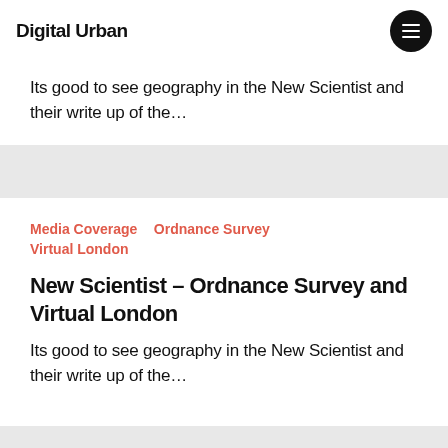Digital Urban
Its good to see geography in the New Scientist and their write up of the...
Media Coverage   Ordnance Survey   Virtual London
New Scientist – Ordnance Survey and Virtual London
Its good to see geography in the New Scientist and their write up of the...